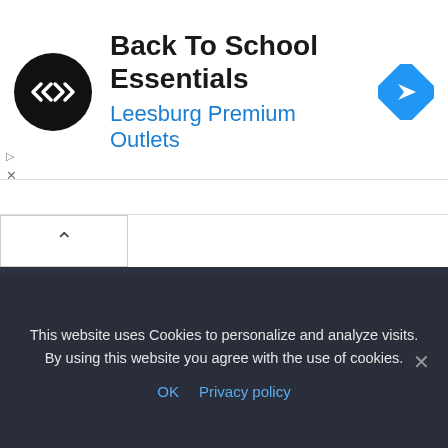[Figure (logo): Black circular logo with double-arrow icon and blue navigation arrow icon; advertisement banner for Back To School Essentials at Leesburg Premium Outlets]
Back To School Essentials
Leesburg Premium Outlets
[Figure (other): Collapse/chevron-up button area]
Contact US
Privacy Policy
This website uses Cookies to personalize and analyze visits. By using this website you agree with the use of cookies.
OK  Privacy policy